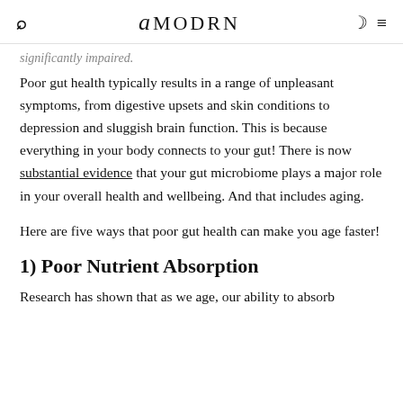AMODRN
significantly impaired.
Poor gut health typically results in a range of unpleasant symptoms, from digestive upsets and skin conditions to depression and sluggish brain function. This is because everything in your body connects to your gut! There is now substantial evidence that your gut microbiome plays a major role in your overall health and wellbeing. And that includes aging.
Here are five ways that poor gut health can make you age faster!
1) Poor Nutrient Absorption
Research has shown that as we age, our ability to absorb